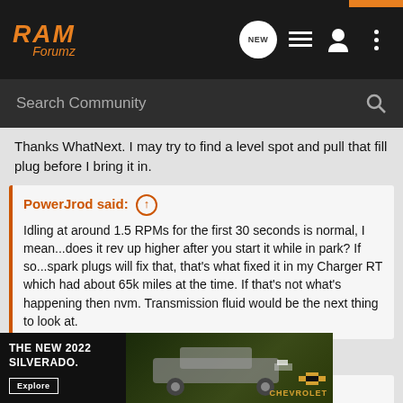[Figure (screenshot): RAM Forumz website header with logo and navigation icons]
Search Community
Thanks WhatNext. I may try to find a level spot and pull that fill plug before I bring it in.
PowerJrod said: ↑ Idling at around 1.5 RPMs for the first 30 seconds is normal, I mean...does it rev up higher after you start it while in park? If so...spark plugs will fix that, that's what fixed it in my Charger RT which had about 65k miles at the time. If that's not what's happening then nvm. Transmission fluid would be the next thing to look at.
Thanks Power
PowerJrod said: ↑ Idling at around 1.5 RPMs for the first 30 seconds is normal, I mean...does it rev up higher after you start it while in park? If so...spark plugs will fix that, that's what fixed it in my Charger RT which had about 65k miles at the time. If that's not what's happening
[Figure (screenshot): Chevrolet Silverado 2022 advertisement overlay at bottom of page]